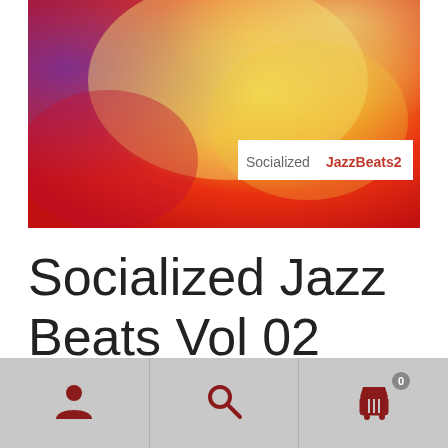[Figure (illustration): Album artwork for Socialized Jazz Beats Vol 02 — abstract colorful image with orange, yellow, red, purple tones resembling a blurred floral or fabric closeup. White label in lower right reads 'SocializedJazzBeats2' with 'Socialized' in gray and 'JazzBeats2' in red.]
Socialized Jazz Beats Vol 02
[Figure (infographic): Bottom navigation bar with three icon buttons: user/account icon, search/magnifying glass icon, and shopping cart icon with badge showing 0.]